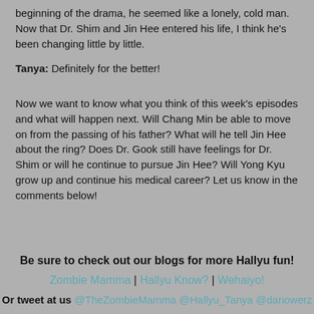beginning of the drama, he seemed like a lonely, cold man. Now that Dr. Shim and Jin Hee entered his life, I think he's been changing little by little.
Tanya: Definitely for the better!
Now we want to know what you think of this week's episodes and what will happen next. Will Chang Min be able to move on from the passing of his father? What will he tell Jin Hee about the ring? Does Dr. Gook still have feelings for Dr. Shim or will he continue to pursue Jin Hee? Will Yong Kyu grow up and continue his medical career? Let us know in the comments below!
Be sure to check out our blogs for more Hallyu fun!
Zombie Mamma | Hallyu Know? | Wehaiyo!
Or tweet at us @TheZombieMamma @Hallyu_Tanya @danowerz